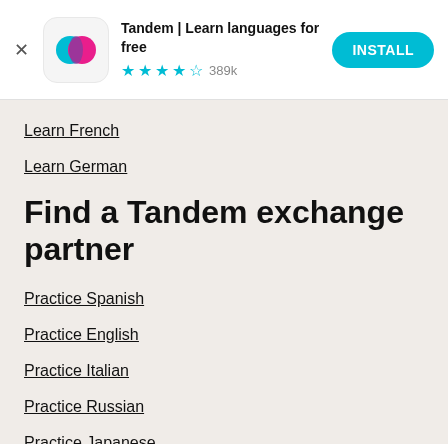[Figure (screenshot): App install banner for Tandem | Learn languages for free. Shows app icon with teal and pink overlapping circles, 4.5 star rating with 389k reviews, and an INSTALL button.]
Learn French
Learn German
Find a Tandem exchange partner
Practice Spanish
Practice English
Practice Italian
Practice Russian
Practice Japanese